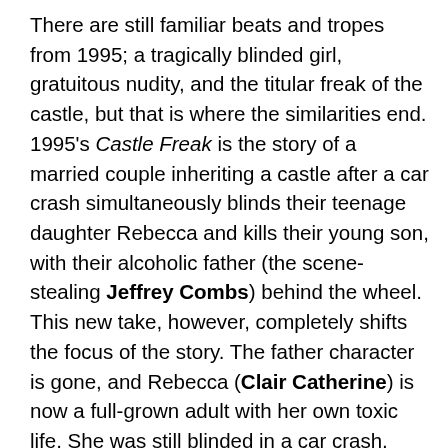There are still familiar beats and tropes from 1995; a tragically blinded girl, gratuitous nudity, and the titular freak of the castle, but that is where the similarities end. 1995's Castle Freak is the story of a married couple inheriting a castle after a car crash simultaneously blinds their teenage daughter Rebecca and kills their young son, with their alcoholic father (the scene-stealing Jeffrey Combs) behind the wheel. This new take, however, completely shifts the focus of the story. The father character is gone, and Rebecca (Clair Catherine) is now a full-grown adult with her own toxic life. She was still blinded in a car crash, however, it was her strung-out boyfriend John (Jake Horowitz) behind the wheel. It is also Rebecca who inherits the castle – not John – from her long-lost mother. Later, the couple's partying friends arrive, and the freak living in the walls of the castle does what everyone expects it to do: mercilessly slaughter a castle full of drugged up millennials.